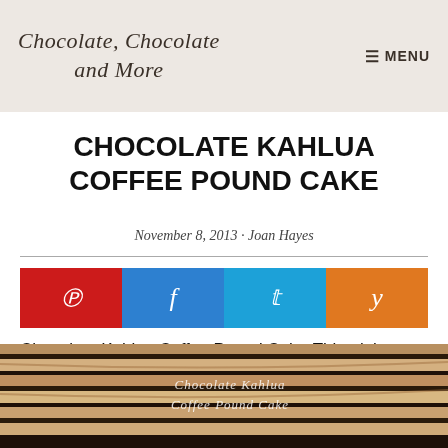Chocolate, Chocolate and More | MENU
CHOCOLATE KAHLUA COFFEE POUND CAKE
November 8, 2013 · Joan Hayes
[Figure (other): Social sharing buttons: Pinterest (red), Facebook (blue), Twitter (light blue), Yummly (orange)]
Chocolate Kahlua Coffee Pound Cake-This triple threat cake will be the perfect ending to any dinner party.
[Figure (photo): Close-up photo of a chocolate Kahlua coffee pound cake with striped dark and light layers, with cursive text overlay reading 'Chocolate Kahlua Coffee Pound Cake']